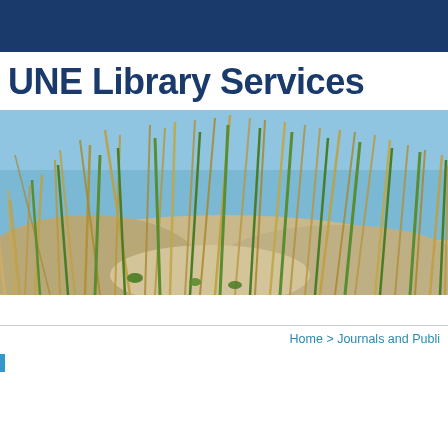UNE Library Services
[Figure (photo): Coastal sand dunes with beach grass blowing in the wind under a clear blue sky, photographed close-up showing tall green and golden dried grass stalks growing from sandy ground]
Home > Journals and Publi